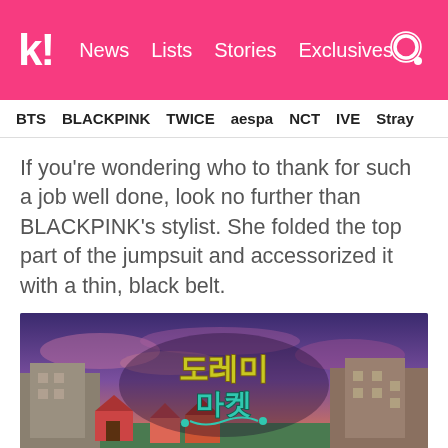k! News  Lists  Stories  Exclusives
BTS  BLACKPINK  TWICE  aespa  NCT  IVE  Stray
If you're wondering who to thank for such a job well done, look no further than BLACKPINK's stylist. She folded the top part of the jumpsuit and accessorized it with a thin, black belt.
[Figure (photo): Korean TV show logo graphic reading Korean characters (Do Re Mi Market) over a colorful illustrated village background with purple sky]